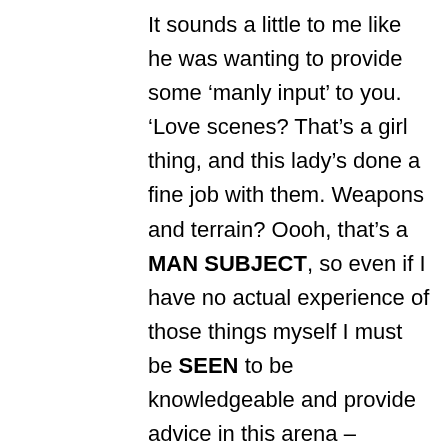It sounds a little to me like he was wanting to provide some ‘manly input’ to you. ‘Love scenes? That’s a girl thing, and this lady’s done a fine job with them. Weapons and terrain? Oooh, that’s a MAN SUBJECT, so even if I have no actual experience of those things myself I must be SEEN to be knowledgeable and provide advice in this arena – because even a man with no actual experience of such things MUST, by the laws of nature, know more about Man Subjects